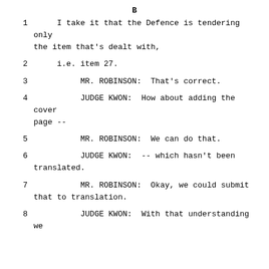1    I take it that the Defence is tendering only the item that's dealt with,
2    i.e. item 27.
3         MR. ROBINSON:  That's correct.
4         JUDGE KWON:  How about adding the cover page --
5         MR. ROBINSON:  We can do that.
6         JUDGE KWON:  -- which hasn't been translated.
7         MR. ROBINSON:  Okay, we could submit that to translation.
8         JUDGE KWON:  With that understanding we